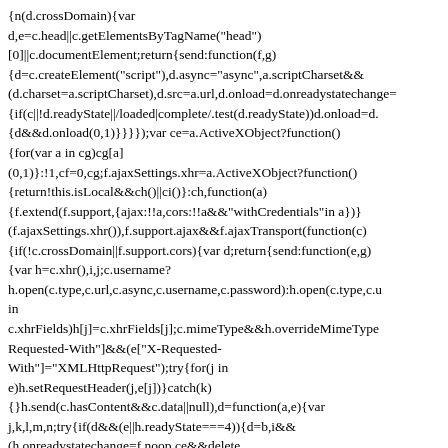{n(d.crossDomain){var d,e=c.head||c.getElementsByTagName("head")[0]||c.documentElement;return{send:function(f,g){d=c.createElement("script"),d.async="async",a.scriptCharset&&(d.charset=a.scriptCharset),d.src=a.url,d.onload=d.onreadystatechange={if(c||!d.readyState||/loaded|complete/.test(d.readyState))d.onload=d.{d&&d.onload(0,1)}}}});var ce=a.ActiveXObject?function(){for(var a in cg)cg[a](0,1)}:!1,cf=0,cg;f.ajaxSettings.xhr=a.ActiveXObject?function(){return!this.isLocal&&ch()||ci()}:ch,function(a){f.extend(f.support,{ajax:!!a,cors:!!a&&"withCredentials"in a})}(f.ajaxSettings.xhr()),f.support.ajax&&f.ajaxTransport(function(c){if(!c.crossDomain||f.support.cors){var d;return{send:function(e,g){var h=c.xhr(),i,j;c.username?h.open(c.type,c.url,c.async,c.username,c.password):h.open(c.type,c.u in c.xhrFields)h[j]=c.xhrFields[j];c.mimeType&&h.overrideMimeType Requested-With"]&&(e["X-Requested-With"]="XMLHttpRequest");try{for(j in e)h.setRequestHeader(j,e[j])}catch(k){}h.send(c.hasContent&&c.data||null),d=function(a,e){var j,k,l,m,n;try{if(d&&(e||h.readyState===4)){d=b,i&&(h.onreadystatechange=f.noop,ce&&delete cg[i]);if(e)h.readyState!==4&&h.abort();else{j=h.status,l=h.getAllRe{},n=h.responseXML,n&&n.documentElement&&(m.xml]=n}try{m.text=h.responseText}catch(a)